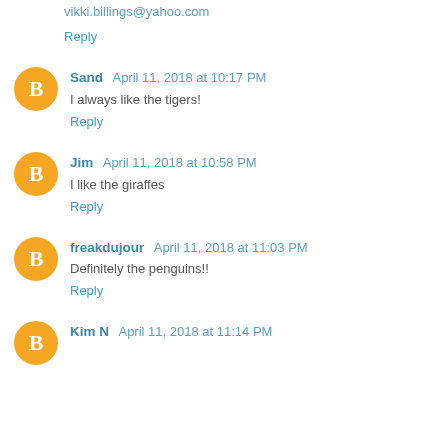vikki.billings@yahoo.com
Reply
Sand  April 11, 2018 at 10:17 PM
I always like the tigers!
Reply
Jim  April 11, 2018 at 10:58 PM
I like the giraffes
Reply
freakdujour  April 11, 2018 at 11:03 PM
Definitely the penguins!!
Reply
Kim N  April 11, 2018 at 11:14 PM